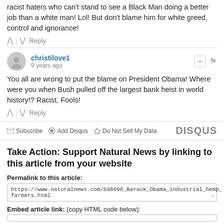racist haters who can't stand to see a Black Man doing a better job than a white man! Lol! But don't blame him for white greed, control and ignorance!
^ | v Reply
christilove1 · 9 years ago
You all are wrong to put the blame on President Obama! Where were you when Bush pulled off the largest bank heist in world history!? Racist, Fools!
^ | v Reply
Subscribe · Add Disqus · Do Not Sell My Data · DISQUS
Take Action: Support Natural News by linking to this article from your website
Permalink to this article:
https://www.naturalnews.com/036696_Barack_Obama_industrial_hemp_farmers.html
Embed article link: (copy HTML code below):